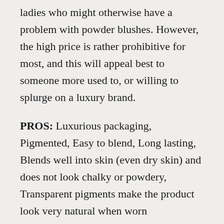ladies who might otherwise have a problem with powder blushes. However, the high price is rather prohibitive for most, and this will appeal best to someone more used to, or willing to splurge on a luxury brand.
PROS: Luxurious packaging, Pigmented, Easy to blend, Long lasting, Blends well into skin (even dry skin) and does not look chalky or powdery, Transparent pigments make the product look very natural when worn
CONS: Very Expensive
WHO WILL LIKE THIS: Someone who is